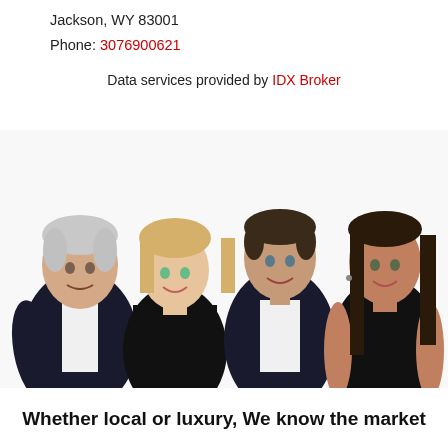Jackson, WY 83001
Phone: 3076900621
Data services provided by IDX Broker
[Figure (photo): Group photo of four real estate professionals — an older man with white hair in a dark suit, a young blonde woman in a black dress, a man in a dark suit with white shirt, and a brunette woman in a sleeveless black top — all smiling against a white background.]
Whether local or luxury, We know the market